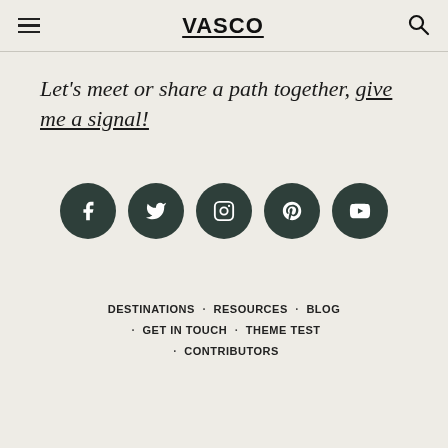VASCO
Let's meet or share a path together, give me a signal!
[Figure (other): Row of five dark circular social media icon buttons: Facebook, Twitter, Instagram, Pinterest, YouTube]
DESTINATIONS · RESOURCES · BLOG · GET IN TOUCH · THEME TEST · CONTRIBUTORS